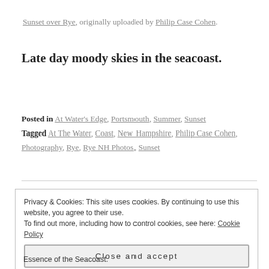Sunset over Rye, originally uploaded by Philip Case Cohen.
Late day moody skies in the seacoast.
Posted in At Water's Edge, Portsmouth, Summer, Sunset
Tagged At The Water, Coast, New Hampshire, Philip Case Cohen, Photography, Rye, Rye NH Photos, Sunset
Privacy & Cookies: This site uses cookies. By continuing to use this website, you agree to their use.
To find out more, including how to control cookies, see here: Cookie Policy
Close and accept
Essence of the Seacoast.